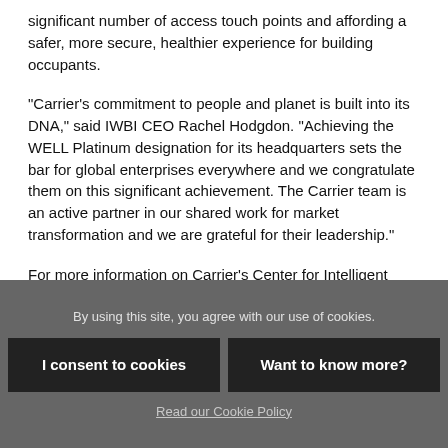significant number of access touch points and affording a safer, more secure, healthier experience for building occupants.
"Carrier's commitment to people and planet is built into its DNA," said IWBI CEO Rachel Hodgdon. "Achieving the WELL Platinum designation for its headquarters sets the bar for global enterprises everywhere and we congratulate them on this significant achievement. The Carrier team is an active partner in our shared work for market transformation and we are grateful for their leadership."
For more information on Carrier's Center for Intelligent Buildings, visit centerforintelligentbuildings.com.
By using this site, you agree with our use of cookies.
I consent to cookies
Want to know more?
Read our Cookie Policy